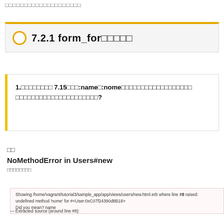□□□□□□□□□□□□□□□□□□□□
7.2.1 form_for□□□□□
1.□□□□□□□□ 7.15□□□:name□:nome□□□□□□□□□□□□□□□□□□□□□□□□□□□□□□□□□□□□□□□□□□□?
□□
NoMethodError in Users#new
□□□□□□□□
[Figure (screenshot): Red error bar showing NoMethodError in Users#new, with detail text showing file path and undefined method 'nome' error message]